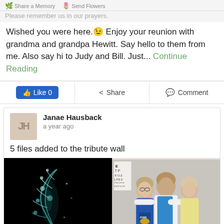Share a Memory | Send Flowers
Please remember us in our prayers.
Wished you were here. 😉 Enjoy your reunion with grandma and grandpa Hewitt. Say hello to them from me. Also say hi to Judy and Bill. Just... Continue Reading
Like 0 | Share | Comment
Janae Hausback
a year ago
5 files added to the tribute wall
[Figure (photo): Dark image with glowing feather-like or plant-like structure with blue-green light, on black background]
[Figure (photo): Three people posing for a photo inside what appears to be a medical office with an eye chart visible; a man in white coat with two women]